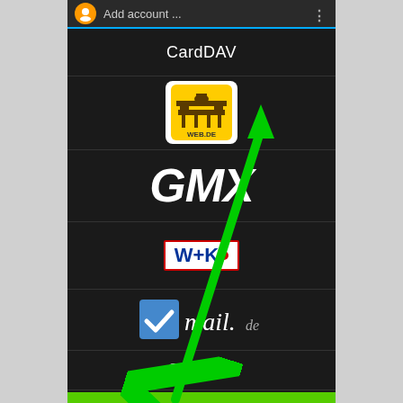[Figure (screenshot): Android smartphone screen showing 'Add account' menu with CardDAV option highlighted by a green arrow. The list shows: CardDAV, WEB.DE, GMX, W+K, mail.de, Google™, Yahoo!®, FastMail. A green arrow points to the CardDAV/WEB.DE entry.]